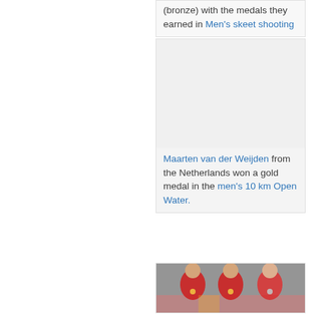(bronze) with the medals they earned in Men's skeet shooting
[Figure (photo): A photo placeholder (light gray rectangle) representing Maarten van der Weijden]
Maarten van der Weijden from the Netherlands won a gold medal in the men's 10 km Open Water.
[Figure (photo): Photo of athletes (appearing to be gymnasts) in red uniforms showing medals at what appears to be the Olympics]